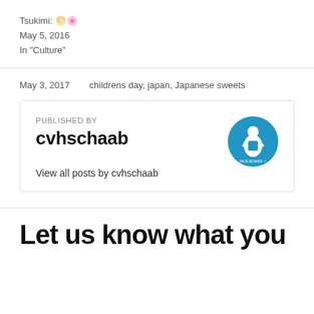Tsukimi: 🌕🌸
May 5, 2016
In "Culture"
May 3, 2017    childrens day, japan, Japanese sweets
PUBLISHED BY
cvhschaab
[Figure (illustration): Blue circular avatar icon with white female figure silhouette and text around the border]
View all posts by cvhschaab
Let us know what you